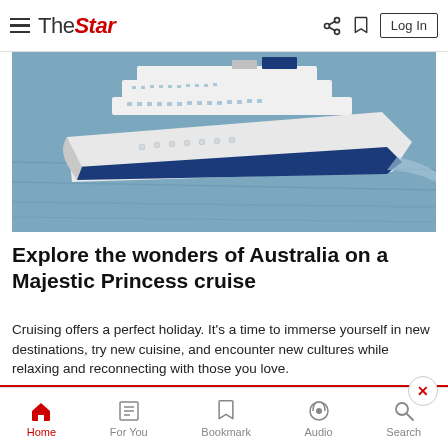The Star — navigation bar with hamburger menu, logo, share, bookmark, and Log In button
[Figure (photo): Aerial view of a large white cruise ship (Majestic Princess) sailing on blue-grey water]
Explore the wonders of Australia on a Majestic Princess cruise
Cruising offers a perfect holiday. It's a time to immerse yourself in new destinations, try new cuisine, and encounter new cultures while relaxing and reconnecting with those you love.
Read unlimited content without ads.  More info on our Premium Plan.  >
Home  For You  Bookmark  Audio  Search